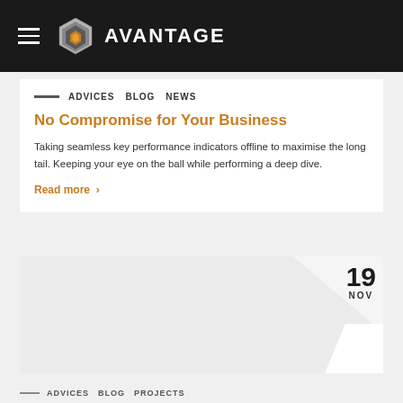[Figure (logo): Avantage logo with hexagon emblem and brand name on dark header bar with hamburger menu icon]
ADVICES   BLOG   NEWS
No Compromise for Your Business
Taking seamless key performance indicators offline to maximise the long tail. Keeping your eye on the ball while performing a deep dive.
Read more >
19 NOV
ADVICES   BLOG   PROJECTS